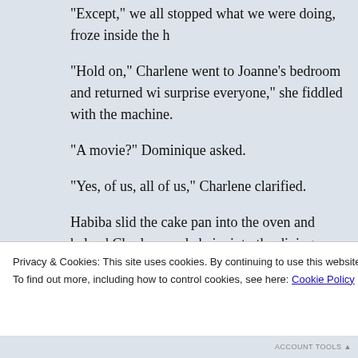“Except,” we all stopped what we were doing, froze inside the h
“Hold on,” Charlene went to Joanne’s bedroom and returned wi surprise everyone,” she fiddled with the machine.
“A movie?” Dominique asked.
“Yes, of us, all of us,” Charlene clarified.
Habiba slid the cake pan into the oven and helped Charlene and chairs into the dining room. And one by one, people arrived, adu grew up on Fletcher Street. They piled gifts on the corner table a had passed, reliving after-school bike rides, endless games of do with Joanne and her twenty-one year old daughter, Savannah, w lo
Privacy & Cookies: This site uses cookies. By continuing to use this website, you agree to their use.
To find out more, including how to control cookies, see here: Cookie Policy
Close and accept